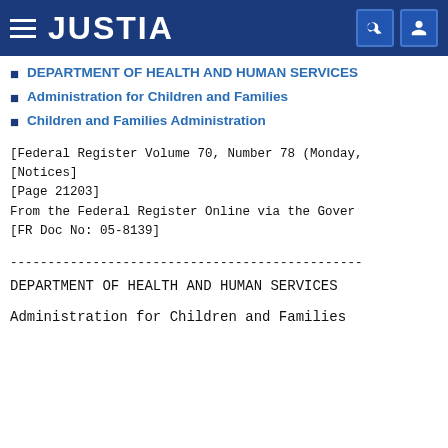JUSTIA
DEPARTMENT OF HEALTH AND HUMAN SERVICES
Administration for Children and Families
Children and Families Administration
[Federal Register Volume 70, Number 78 (Monday,
[Notices]
[Page 21203]
From the Federal Register Online via the Gover
[FR Doc No: 05-8139]
------------------------------------------------------------------------
DEPARTMENT OF HEALTH AND HUMAN SERVICES
Administration for Children and Families